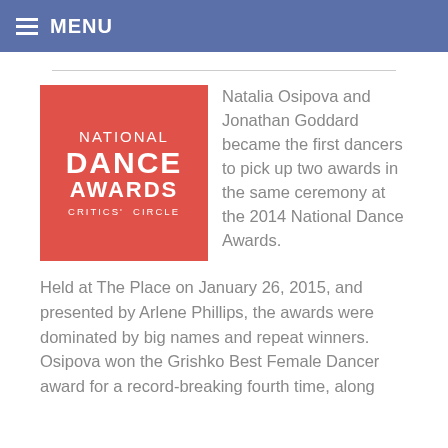MENU
[Figure (logo): National Dance Awards Critics' Circle logo — red background with white text]
Natalia Osipova and Jonathan Goddard became the first dancers to pick up two awards in the same ceremony at the 2014 National Dance Awards.
Held at The Place on January 26, 2015, and presented by Arlene Phillips, the awards were dominated by big names and repeat winners. Osipova won the Grishko Best Female Dancer award for a record-breaking fourth time, along